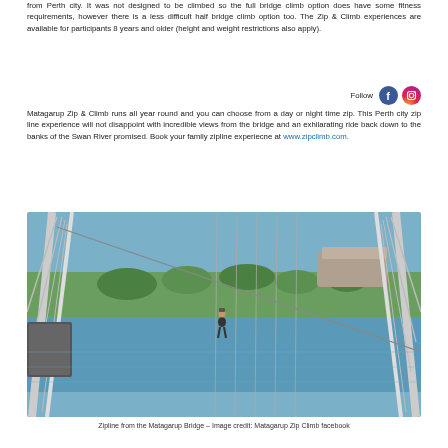from Perth city. It was not designed to be climbed so the full bridge climb option does have some fitness requirements, however there is a less difficult half bridge climb option too. The Zip & Climb experiences are available for participants 8 years and older (height and weight restrictions also apply).
Matagarup Zip & Climb runs all year round and you can choose from a day or night time zip. This Perth city zip line experience will not disappoint with incredible views from the bridge and an exhilarating ride back down to the banks of the Swan River promised. Book your family zipline experiecne at www.zipclimb.com.
[Figure (photo): Person zip-lining from the Matagarup Bridge over the Swan River in Perth. Bridge structure visible on left and right sides. Parkland, water and a stadium visible in background.]
Zipline from the Matagarup Bridge – Image credit: Matagarup Zip Climb facebook